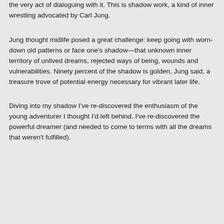the very act of dialoguing with it. This is shadow work, a kind of inner wrestling advocated by Carl Jung.
Jung thought midlife posed a great challenge: keep going with worn-down old patterns or face one's shadow—that unknown inner territory of unlived dreams, rejected ways of being, wounds and vulnerabilities. Ninety percent of the shadow is golden, Jung said, a treasure trove of potential energy necessary for vibrant later life.
Diving into my shadow I've re-discovered the enthusiasm of the young adventurer I thought I'd left behind. I've re-discovered the powerful dreamer (and needed to come to terms with all the dreams that weren't fulfilled).